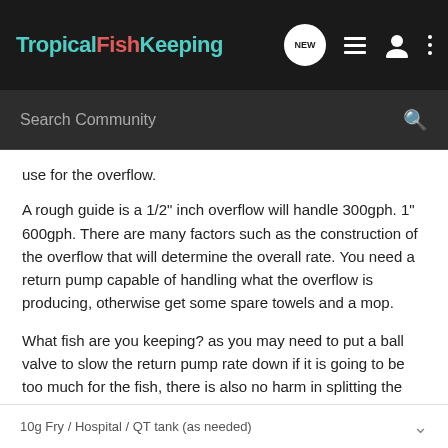TropicalFishKeeping
use for the overflow.
A rough guide is a 1/2" inch overflow will handle 300gph. 1" 600gph. There are many factors such as the construction of the overflow that will determine the overall rate. You need a return pump capable of handling what the overflow is producing, otherwise get some spare towels and a mop.
What fish are you keeping? as you may need to put a ball valve to slow the return pump rate down if it is going to be too much for the fish, there is also no harm in splitting the return line so it pumps some back into the refugium section.
10g Fry / Hospital / QT tank (as needed)